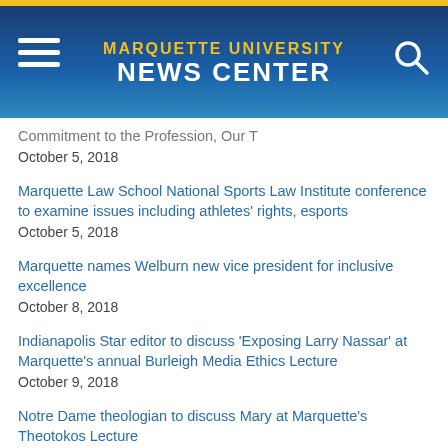MARQUETTE UNIVERSITY NEWS CENTER
Commitment to the Profession, Our T
October 5, 2018
Marquette Law School National Sports Law Institute conference to examine issues including athletes' rights, esports
October 5, 2018
Marquette names Welburn new vice president for inclusive excellence
October 8, 2018
Indianapolis Star editor to discuss 'Exposing Larry Nassar' at Marquette's annual Burleigh Media Ethics Lecture
October 9, 2018
Notre Dame theologian to discuss Mary at Marquette's Theotokos Lecture
October 10, 2018
New Marquette Law School Poll finds tight race for Wisconsin